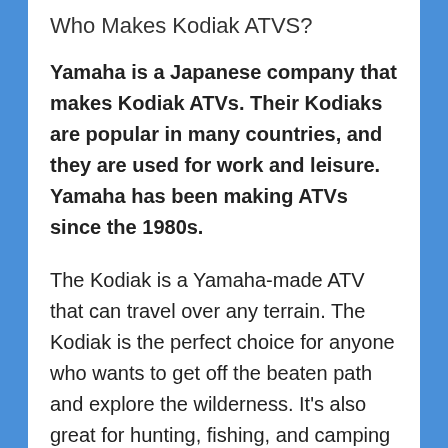Who Makes Kodiak ATVS?
Yamaha is a Japanese company that makes Kodiak ATVs. Their Kodiaks are popular in many countries, and they are used for work and leisure. Yamaha has been making ATVs since the 1980s.
The Kodiak is a Yamaha-made ATV that can travel over any terrain. The Kodiak is the perfect choice for anyone who wants to get off the beaten path and explore the wilderness. It's also great for hunting, fishing, and camping trips.